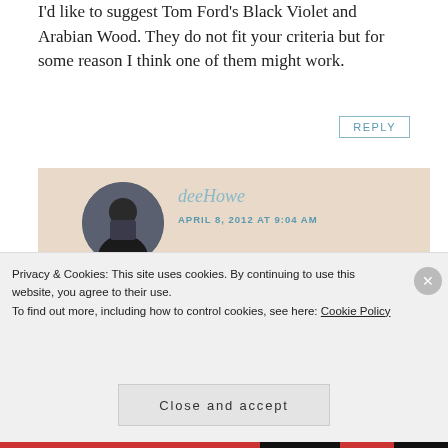I'd like to suggest Tom Ford's Black Violet and Arabian Wood. They do not fit your criteria but for some reason I think one of them might work.
REPLY
deeHowe
APRIL 8, 2012 AT 9:04 AM
Those are both good suggestions Undina, I especially like Black Violet... 🙂
REPLY
Undina
Privacy & Cookies: This site uses cookies. By continuing to use this website, you agree to their use. To find out more, including how to control cookies, see here: Cookie Policy
Close and accept